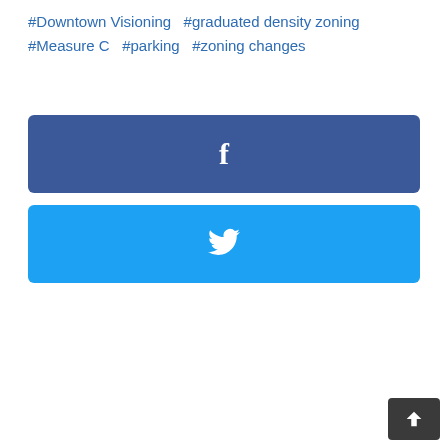#Downtown Visioning  #graduated density zoning  #Measure C  #parking  #zoning changes
[Figure (other): Facebook share button — dark blue rounded rectangle with white 'f' icon in center]
[Figure (other): Twitter share button — light blue rounded rectangle with white Twitter bird icon in center]